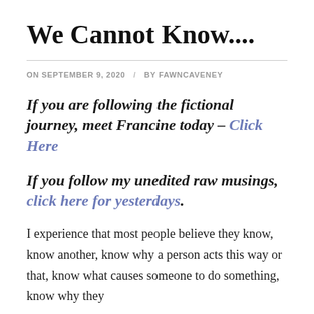We Cannot Know....
ON SEPTEMBER 9, 2020  /  BY FAWNCAVENEY
If you are following the fictional journey, meet Francine today – Click Here
If you follow my unedited raw musings, click here for yesterdays.
I experience that most people believe they know, know another, know why a person acts this way or that, know what causes someone to do something, know why they